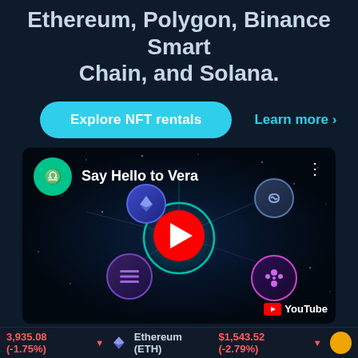Ethereum, Polygon, Binance Smart Chain, and Solana.
[Figure (screenshot): Explore NFT rentals button and Learn more link on dark background]
[Figure (screenshot): YouTube video thumbnail titled 'Say Hello to Vera' showing blockchain network logos (Ethereum, Solana, Polkadot, etc.) with a play button, on a dark starfield background]
3,935.08 (-1.75%) ▼   Ethereum (ETH)   $1,543.52 (-2.79%) ▼